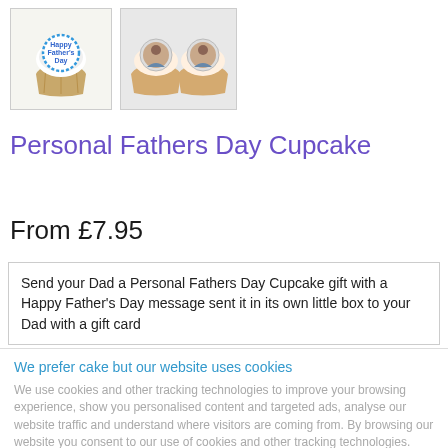[Figure (photo): Two product thumbnail images: left shows a cupcake with 'Happy Father's Day' text, right shows two cupcakes with photo prints on top]
Personal Fathers Day Cupcake
From £7.95
Send your Dad a Personal Fathers Day Cupcake gift with a Happy Father's Day message sent it in its own little box to your Dad with a gift card
We prefer cake but our website uses cookies
We use cookies and other tracking technologies to improve your browsing experience, show you personalised content and targeted ads, analyse our website traffic and understand where visitors are coming from. By browsing our website you consent to our use of cookies and other tracking technologies.
ACCEPT